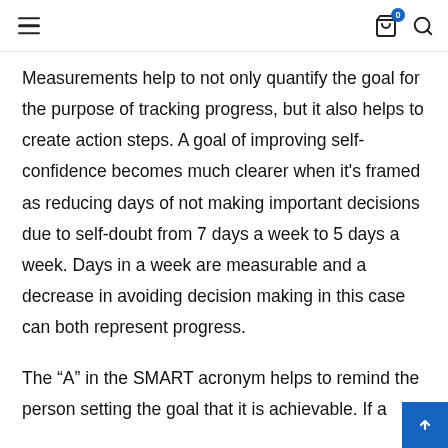navigation bar with hamburger menu, cart icon with badge 0, and search icon
Measurements help to not only quantify the goal for the purpose of tracking progress, but it also helps to create action steps. A goal of improving self-confidence becomes much clearer when it's framed as reducing days of not making important decisions due to self-doubt from 7 days a week to 5 days a week. Days in a week are measurable and a decrease in avoiding decision making in this case can both represent progress.
The “A” in the SMART acronym helps to remind the person setting the goal that it is achievable. If a